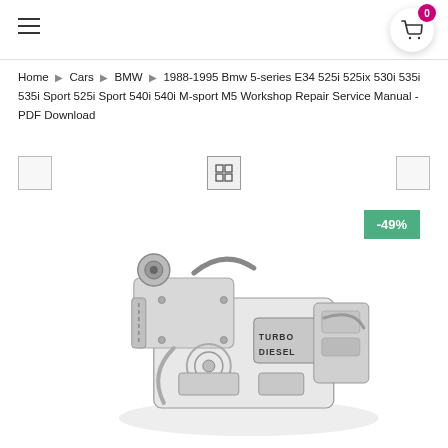Navigation bar with hamburger menu and cart icon showing 0 items
Home > Cars > BMW > 1988-1995 Bmw 5-series E34 525i 525ix 530i 535i 535i Sport 525i Sport 540i 540i M-sport M5 Workshop Repair Service Manual -PDF Download
[Figure (screenshot): View toggle controls: left box, center grid icon, right box]
[Figure (photo): BMW Turbo Diesel engine image with -49% discount badge in green]